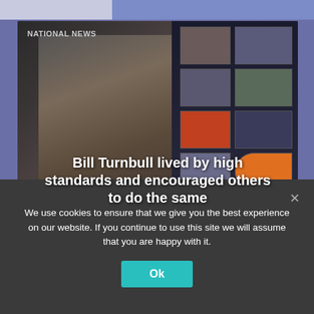[Figure (photo): Photo of Bill Turnbull, a man in a suit with a tie, standing in front of multiple TV screens in a broadcast studio. Text overlay reads 'NATIONAL NEWS' at top left and 'Bill Turnbull lived by high standards and encouraged others to do the same' centered at the bottom.]
We use cookies to ensure that we give you the best experience on our website. If you continue to use this site we will assume that you are happy with it.
Ok